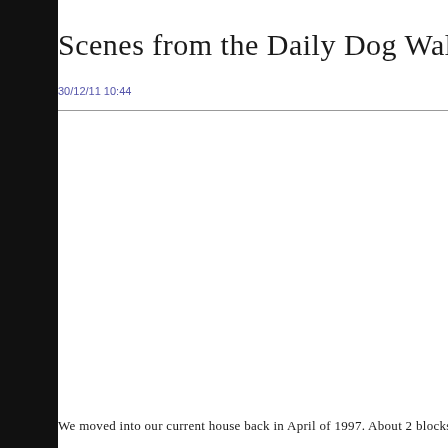Scenes from the Daily Dog Walk
30/12/11 10:44
We moved into our current house back in April of 1997. About 2 blocks